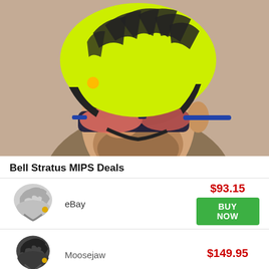[Figure (photo): Man wearing a yellow/neon Bell Stratus MIPS cycling helmet and red-tinted sport sunglasses with blue frames, photographed from the side against a tan wall background.]
Bell Stratus MIPS Deals
[Figure (photo): White/gray Bell Stratus MIPS cycling helmet product photo shown at an angle.]
eBay
$93.15
BUY NOW
[Figure (photo): Dark gray/black Bell Stratus MIPS cycling helmet product photo shown at an angle.]
Moosejaw
$149.95